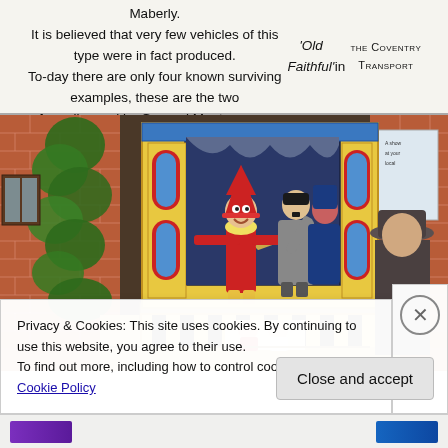having hand-built coachwork by Thrupp & Maberly. It is believed that very few vehicles of this type were in fact produced. To-day there are only four known surviving examples, these are the two formally used by General Montgomery, 'Old Faithful' in THE COVENTRY TRANSPORT and the third, reputedly...
[Figure (photo): A Punch and Judy puppet show booth with colorful yellow and red decorated frame, featuring a Punch puppet in red costume and other puppets including one resembling Hitler. The booth is set against a red brick wall with ivy. A man in a hat stands to the right.]
Privacy & Cookies: This site uses cookies. By continuing to use this website, you agree to their use.
To find out more, including how to control cookies, see here: Cookie Policy
Close and accept